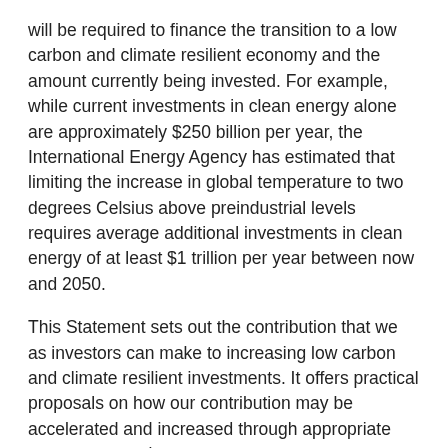will be required to finance the transition to a low carbon and climate resilient economy and the amount currently being invested. For example, while current investments in clean energy alone are approximately $250 billion per year, the International Energy Agency has estimated that limiting the increase in global temperature to two degrees Celsius above preindustrial levels requires average additional investments in clean energy of at least $1 trillion per year between now and 2050.
This Statement sets out the contribution that we as investors can make to increasing low carbon and climate resilient investments. It offers practical proposals on how our contribution may be accelerated and increased through appropriate government action.
Stronger political leadership and more ambitious policies are needed in order for us to scale up our investments. We believe that well designed and implemented policies would encourage